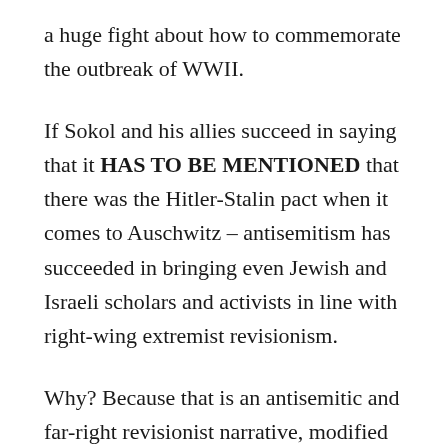a huge fight about how to commemorate the outbreak of WWII.
If Sokol and his allies succeed in saying that it HAS TO BE MENTIONED that there was the Hitler-Stalin pact when it comes to Auschwitz – antisemitism has succeeded in bringing even Jewish and Israeli scholars and activists in line with right-wing extremist revisionism.
Why? Because that is an antisemitic and far-right revisionist narrative, modified in fine Western style from its far-right East European originators by historian Timothy Snyder, former German President Joachim Gauck and right-wing extremist historians such as Jorg